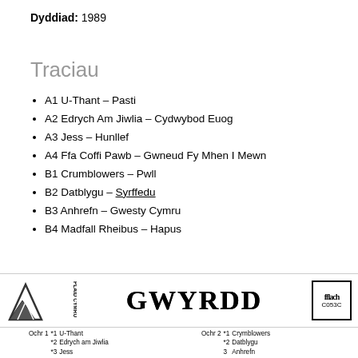Dyddiad: 1989
Traciau
A1 U-Thant – Pasti
A2 Edrych Am Jiwlia – Cydwybod Euog
A3 Jess – Hunllef
A4 Ffa Coffi Pawb – Gwneud Fy Mhen I Mewn
B1 Crumblowers – Pwll
B2 Datblygu – Syrffedu
B3 Anhrefn – Gwesty Cymru
B4 Madfall Rheibus – Hapus
[Figure (logo): Banner with Plaid Cymru logo, GWYRDD text in decorative font, and Fflach C053C box logo]
Ochr 1 *1 U-Thant  Ochr 2 *1 Crymblowers
*2 Edrych am Jiwlia  *2 Datblygu
*3 Jess  3 Anhrefn